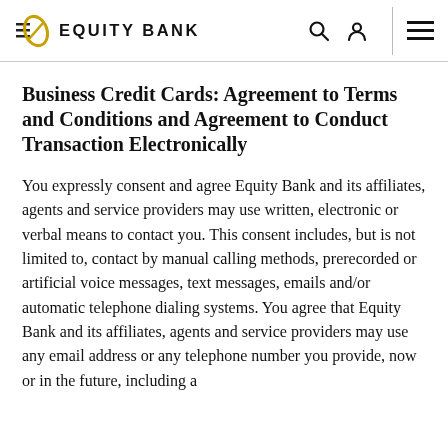Equity Bank
Business Credit Cards: Agreement to Terms and Conditions and Agreement to Conduct Transaction Electronically
You expressly consent and agree Equity Bank and its affiliates, agents and service providers may use written, electronic or verbal means to contact you. This consent includes, but is not limited to, contact by manual calling methods, prerecorded or artificial voice messages, text messages, emails and/or automatic telephone dialing systems. You agree that Equity Bank and its affiliates, agents and service providers may use any email address or any telephone number you provide, now or in the future, including a